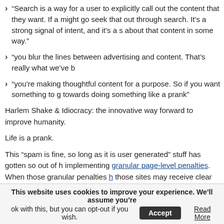“Search is a way for a user to explicitly call out the content that they want. If a might go seek that out through search. It’s a strong signal of intent, and it’s a s about that content in some way.”
“you blur the lines between advertising and content. That’s really what we’ve b
“you’re making thoughtful content for a purpose. So if you want something to g towards doing something like a prank”
Harlem Shake & Idiocracy: the innovative way forward to improve humanity.
Life is a prank.
This “spam is fine, so long as it is user generated” stuff has gotten so out of h implementing granular page-level penalties. When those granular penalties h those sites may receive clear advice on what to fix, just by contacting Google
Hubert said that if people file a reconsideration request, they should “get a There’s a bit of a Catch-22 there. How can you file a reconsideration reque stuff, if the only way you can get a clear answer about the bad stuff to rem request?
The answer is that technically, you can request reconsideration without re
This website uses cookies to improve your experience. We’ll assume you’re ok with this, but you can opt-out if you wish. [Accept] [Read More]